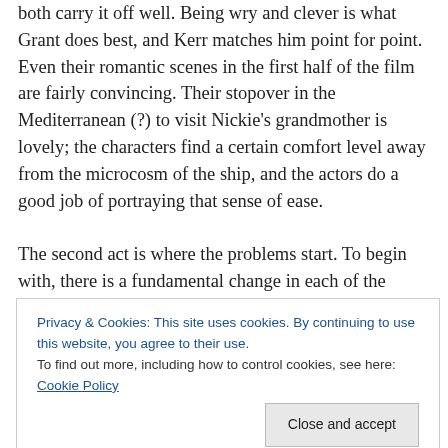both carry it off well. Being wry and clever is what Grant does best, and Kerr matches him point for point. Even their romantic scenes in the first half of the film are fairly convincing. Their stopover in the Mediterranean (?) to visit Nickie's grandmother is lovely; the characters find a certain comfort level away from the microcosm of the ship, and the actors do a good job of portraying that sense of ease.
The second act is where the problems start. To begin with, there is a fundamental change in each of the characters that would seem to be detrimental to any future
Privacy & Cookies: This site uses cookies. By continuing to use this website, you agree to their use. To find out more, including how to control cookies, see here: Cookie Policy
singer, and her businessman pays the bills. As romantic as